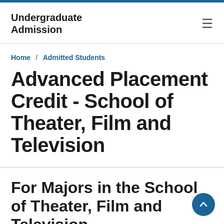Undergraduate Admission
Home / Admitted Students
Advanced Placement Credit - School of Theater, Film and Television
For Majors in the School of Theater, Film and Television